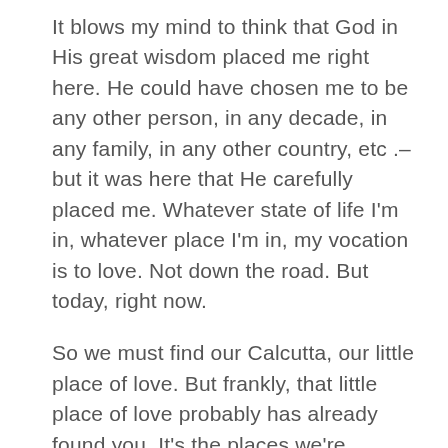It blows my mind to think that God in His great wisdom placed me right here. He could have chosen me to be any other person, in any decade, in any family, in any other country, etc .– but it was here that He carefully placed me. Whatever state of life I'm in, whatever place I'm in, my vocation is to love. Not down the road. But today, right now.
So we must find our Calcutta, our little place of love. But frankly, that little place of love probably has already found you. It's the places we're already in. Our Calcutta is our dining room tables, our classrooms, the grocery store, the soccer field, our local soup kitchen. For Bl. Giorgio Frassiti, his Calcutta was the pool hall. Being skilled at pool, Frassati would go and bet his friends